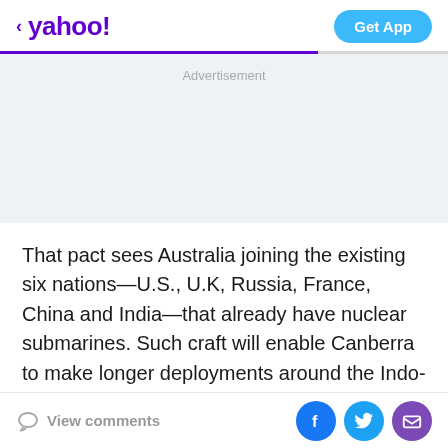< yahoo!  Get App
Advertisement
That pact sees Australia joining the existing six nations—U.S., U.K, Russia, France, China and India—that already have nuclear submarines. Such craft will enable Canberra to make longer deployments around the Indo-Pacific region, where China has been boosting is presence. It is
View comments